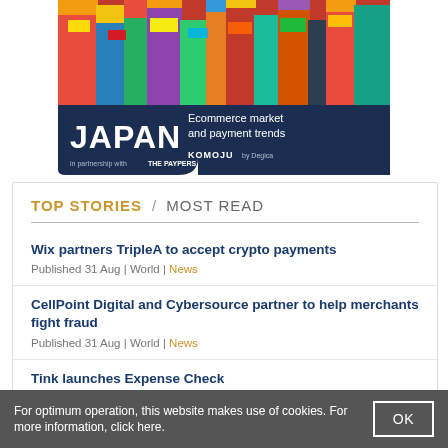[Figure (photo): Advertisement banner for Japan Ecommerce market and payment trends report, in partnership with The Paypers, powered by KOMOJU. Shows a busy colorful Japanese city street with neon signs.]
TOP STORIES / MOST READ
Wix partners TripleA to accept crypto payments
Published 31 Aug | World | News
CellPoint Digital and Cybersource partner to help merchants fight fraud
Published 31 Aug | World | News
Tink launches Expense Check
Published 31 Aug |
For optimum operation, this website makes use of cookies. For more information, click here.